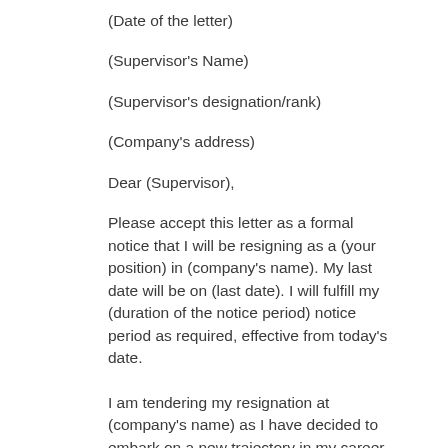(Date of the letter)
(Supervisor's Name)
(Supervisor's designation/rank)
(Company's address)
Dear (Supervisor),
Please accept this letter as a formal notice that I will be resigning as a (your position) in (company's name). My last date will be on (last date). I will fulfill my (duration of the notice period) notice period as required, effective from today's date.
I am tendering my resignation at (company's name) as I have decided to embark on a new trajectory in my career path. This was not an easy decision to make. However, after much consideration, I am ready to transition into a new role in a new environment. I will be working in